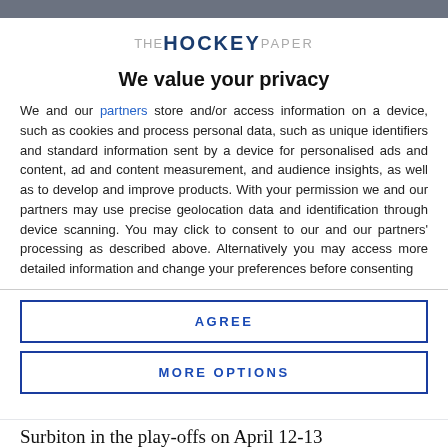[Figure (logo): The Hockey Paper logo with stylized text]
We value your privacy
We and our partners store and/or access information on a device, such as cookies and process personal data, such as unique identifiers and standard information sent by a device for personalised ads and content, ad and content measurement, and audience insights, as well as to develop and improve products. With your permission we and our partners may use precise geolocation data and identification through device scanning. You may click to consent to our and our partners' processing as described above. Alternatively you may access more detailed information and change your preferences before consenting
AGREE
MORE OPTIONS
Surbiton in the play-offs on April 12-13